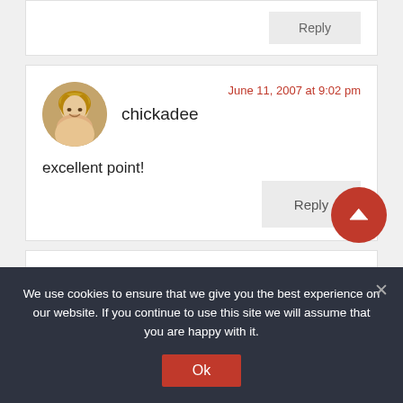[Figure (screenshot): Top partial comment card with a Reply button visible at top right]
chickadee
June 11, 2007 at 9:02 pm
excellent point!
Reply
June 11, 2007 at 9:17 pm
We use cookies to ensure that we give you the best experience on our website. If you continue to use this site we will assume that you are happy with it.
Ok